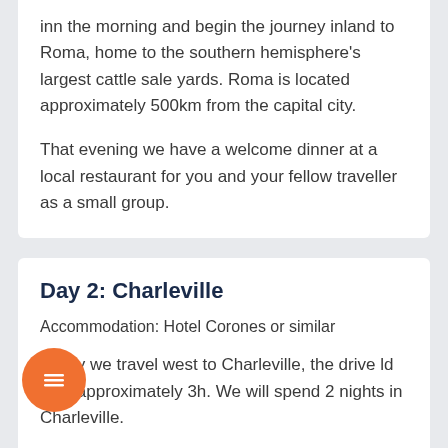inn the morning and begin the journey inland to Roma, home to the southern hemisphere's largest cattle sale yards. Roma is located approximately 500km from the capital city.
That evening we have a welcome dinner at a local restaurant for you and your fellow traveller as a small group.
Day 2: Charleville
Accommodation: Hotel Corones or similar
Today we travel west to Charleville, the drive ld take approximately 3h. We will spend 2 nights in Charleville.